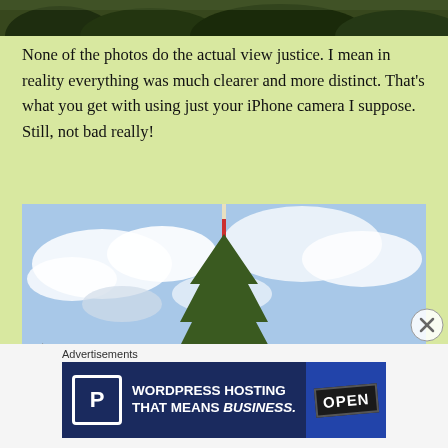[Figure (photo): Top portion of a landscape/nature photo cropped at the top edge showing trees and greenery]
None of the photos do the actual view justice. I mean in reality everything was much clearer and more distinct. That's what you get with using just your iPhone camera I suppose. Still, not bad really!
[Figure (photo): Photo of a tall red and white radio/TV transmission tower rising above trees against a blue cloudy sky]
Advertisements
[Figure (other): Advertisement banner for WordPress Hosting with P icon and OPEN sign image. Text: WORDPRESS HOSTING THAT MEANS BUSINESS.]